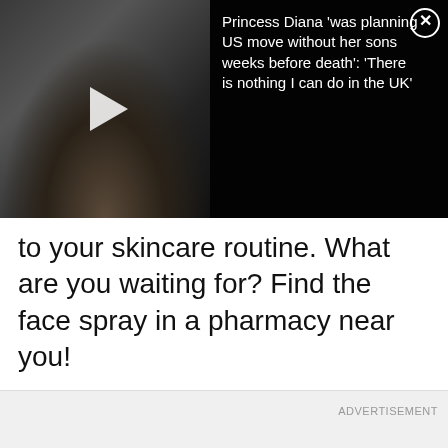[Figure (screenshot): Video thumbnail of Princess Diana in a black dress at an event, with a white play button overlay, inside a dark overlay banner.]
Princess Diana 'was planning US move without her sons weeks before death': 'There is nothing I can do in the UK'
to your skincare routine. What are you waiting for? Find the face spray in a pharmacy near you!
ADVERTISEMENT